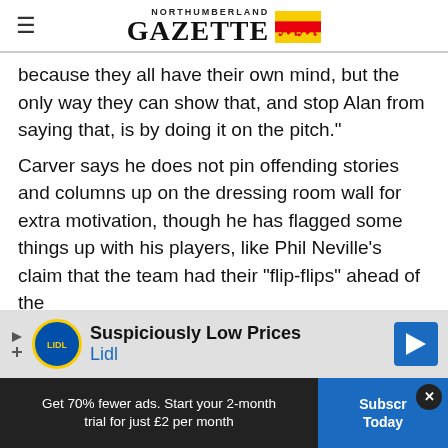NORTHUMBERLAND GAZETTE
because they all have their own mind, but the only way they can show that, and stop Alan from saying that, is by doing it on the pitch."
Carver says he does not pin offending stories and columns up on the dressing room wall for extra motivation, though he has flagged some things up with his players, like Phil Neville’s claim that the team had their “flip-flips” ahead of the
[Figure (screenshot): Lidl advertisement banner: 'Suspiciously Low Prices / Lidl' with Lidl logo and navigation arrow icon]
Get 70% fewer ads. Start your 2-month trial for just £2 per month
Subscribe Today